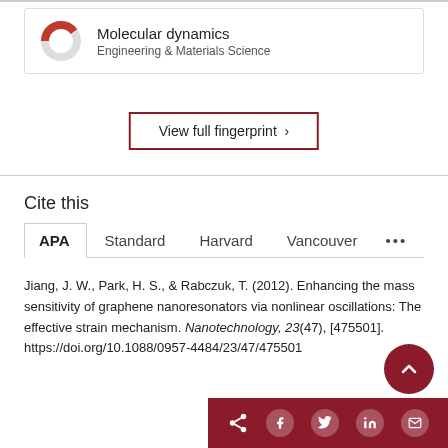[Figure (infographic): Donut chart icon partially filled in red representing Molecular dynamics topic card]
Molecular dynamics
Engineering & Materials Science
View full fingerprint >
Cite this
APA   Standard   Harvard   Vancouver   ...
Jiang, J. W., Park, H. S., & Rabczuk, T. (2012). Enhancing the mass sensitivity of graphene nanoresonators via nonlinear oscillations: The effective strain mechanism. Nanotechnology, 23(47), [475501]. https://doi.org/10.1088/0957-4484/23/47/475501